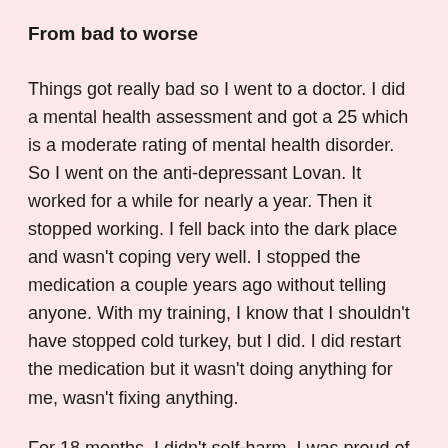From bad to worse
Things got really bad so I went to a doctor. I did a mental health assessment and got a 25 which is a moderate rating of mental health disorder. So I went on the anti-depressant Lovan. It worked for a while for nearly a year. Then it stopped working. I fell back into the dark place and wasn't coping very well. I stopped the medication a couple years ago without telling anyone. With my training, I know that I shouldn't have stopped cold turkey, but I did. I did restart the medication but it wasn't doing anything for me, wasn't fixing anything.
For 18 months, I didn't self-harm. I was proud of myself because it was the longest time I'd ever not cut myself and I was in my last year of uni and my first year of work. When I was working on a ward where the manager wasn't particularly supportive, the stress started coming back and so did my self-harm. I had relapsed. It's like a drug, getting that hit again and